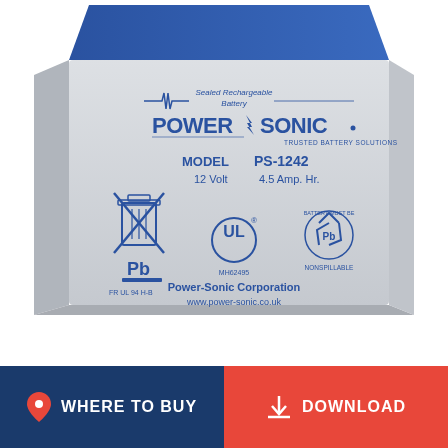[Figure (photo): Power-Sonic PS-1242 sealed rechargeable battery. Grey and blue casing. Label reads: Sealed Rechargeable Battery, POWER SONIC, TRUSTED BATTERY SOLUTIONS, MODEL PS-1242, 12 Volt 4.5 Amp. Hr., FR UL 94 H-B, Pb symbol with crossed-out trash can, UL logo MH62495, recycling symbol with Pb and NONSPILLABLE, Power-Sonic Corporation, www.power-sonic.co.uk]
WHERE TO BUY
DOWNLOAD